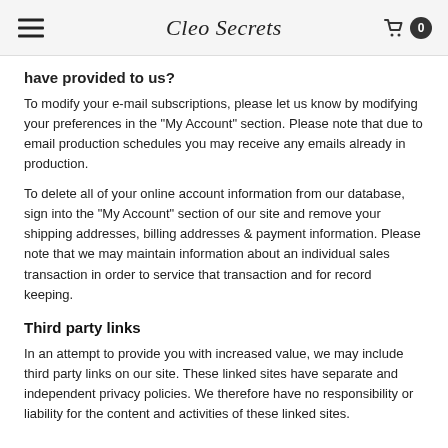Cleo Secrets
have provided to us?
To modify your e-mail subscriptions, please let us know by modifying your preferences in the "My Account" section. Please note that due to email production schedules you may receive any emails already in production.
To delete all of your online account information from our database, sign into the "My Account" section of our site and remove your shipping addresses, billing addresses & payment information. Please note that we may maintain information about an individual sales transaction in order to service that transaction and for record keeping.
Third party links
In an attempt to provide you with increased value, we may include third party links on our site. These linked sites have separate and independent privacy policies. We therefore have no responsibility or liability for the content and activities of these linked sites.